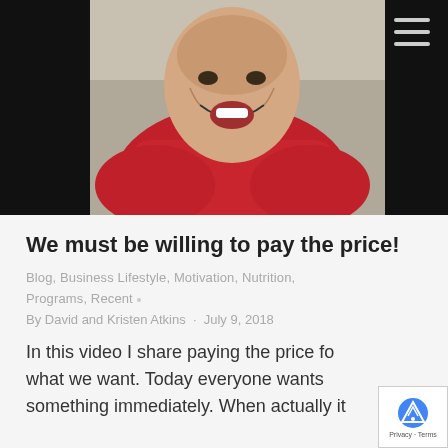[Figure (photo): A man in a red shirt smiling and laughing, photographed from a slightly elevated angle. Background is dark/black. A hamburger menu icon is visible in the top-right corner.]
We must be willing to pay the price!
Blog, Business Lifestyle, Motivation, Nutrition, Programs, Recent
By David and Kristen Atkins · July 9, 2018
In this video I share paying the price for what we want. Today everyone wants something immediately. When actually it